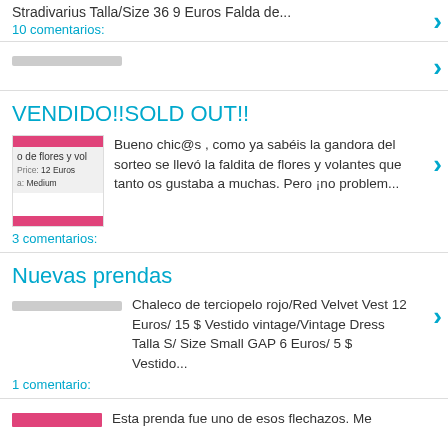Stradivarius Talla/Size 36 9 Euros Falda de...
10 comentarios:
[Figure (other): Gray placeholder bar]
VENDIDO!!SOLD OUT!!
[Figure (photo): Thumbnail image with pink bars top and bottom, text reading 'o de flores y vol Price: 12 Euros ca: Medium']
Bueno chic@s , como ya sabéis la gandora del sorteo se llevó la faldita de flores y volantes que tanto os gustaba a muchas. Pero ¡no problem...
3 comentarios:
Nuevas prendas
[Figure (other): Gray placeholder bar]
Chaleco de terciopelo rojo/Red Velvet Vest 12 Euros/ 15 $ Vestido vintage/Vintage Dress Talla S/ Size Small GAP 6 Euros/ 5 $ Vestido...
1 comentario:
[Figure (other): Pink/magenta bar thumbnail]
Esta prenda fue uno de esos flechazos. Me